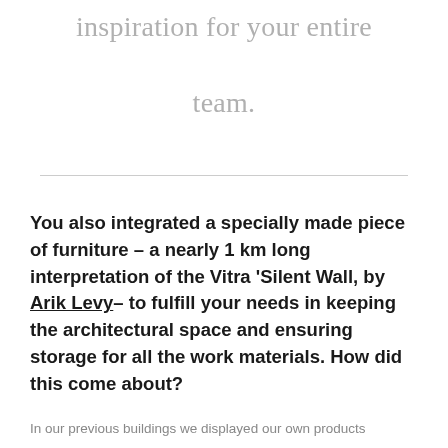inspiration for your entire team.
You also integrated a specially made piece of furniture – a nearly 1 km long interpretation of the Vitra 'Silent Wall, by Arik Levy– to fulfill your needs in keeping the architectural space and ensuring storage for all the work materials. How did this come about?
In our previous buildings we displayed our own products